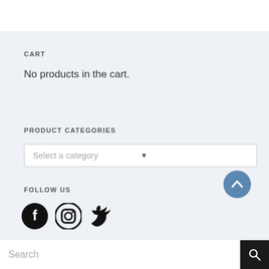CART
No products in the cart.
PRODUCT CATEGORIES
Select a category
FOLLOW US
[Figure (illustration): Social media icons: Facebook, Instagram, Twitter]
[Figure (illustration): Back to top button (chevron up on blue circle)]
Search